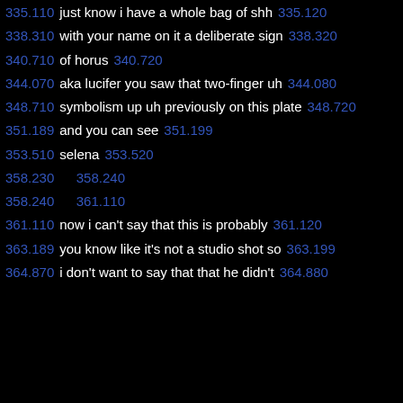335.110  just know i have a whole bag of shh  335.120
338.310  with your name on it a deliberate sign  338.320
340.710  of horus  340.720
344.070  aka lucifer you saw that two-finger uh  344.080
348.710  symbolism up uh previously on this plate  348.720
351.189  and you can see  351.199
353.510  selena  353.520
358.230  358.240
358.240  361.110
361.110  now i can't say that this is probably  361.120
363.189  you know like it's not a studio shot so  363.199
364.870  i don't want to say that that he didn't  364.880